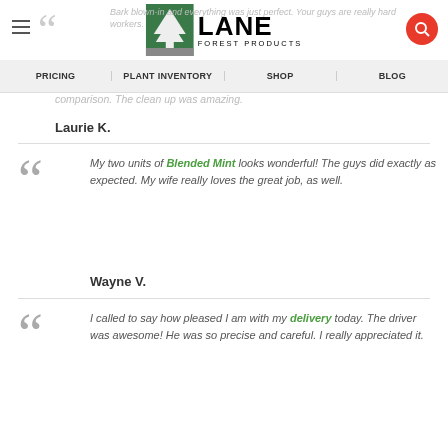Lane Forest Products — PRICING | PLANT INVENTORY | SHOP | BLOG
comparison. The clean up was amazing.
Laurie K.
My two units of Blended Mint looks wonderful! The guys did exactly as expected. My wife really loves the great job, as well.
Wayne V.
I called to say how pleased I am with my delivery today. The driver was awesome! He was so precise and careful. I really appreciated it.